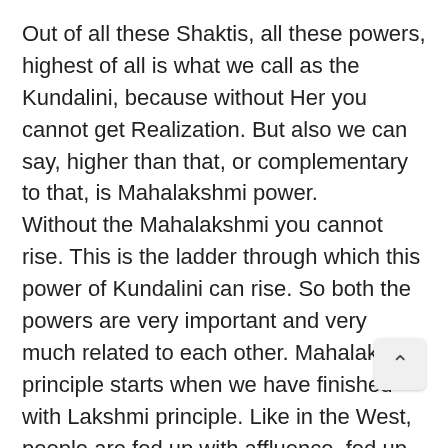Out of all these Shaktis, all these powers, highest of all is what we call as the Kundalini, because without Her you cannot get Realization. But also we can say, higher than that, or complementary to that, is Mahalakshmi power. Without the Mahalakshmi you cannot rise. This is the ladder through which this power of Kundalini can rise. So both the powers are very important and very much related to each other. Mahalakshmi principle starts when we have finished with Lakshmi principle. Like in the West, people are fed up with affluence, fed up with all the riches and all that, so they are thinking: “What have we achieved? We have gone into imbalances, so what should we do? We have to balance ourselves.” So how do we balance ourselves? We have to have the knowledge of the Spirit. That is